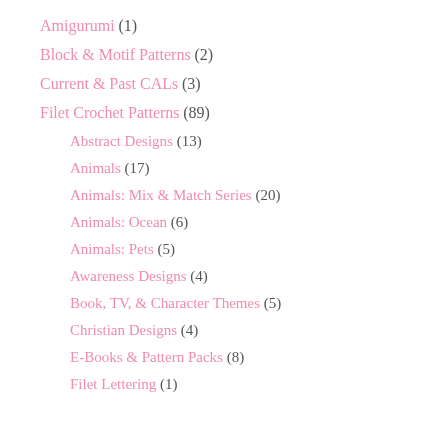Amigurumi (1)
Block & Motif Patterns (2)
Current & Past CALs (3)
Filet Crochet Patterns (89)
Abstract Designs (13)
Animals (17)
Animals: Mix & Match Series (20)
Animals: Ocean (6)
Animals: Pets (5)
Awareness Designs (4)
Book, TV, & Character Themes (5)
Christian Designs (4)
E-Books & Pattern Packs (8)
Filet Lettering (1)